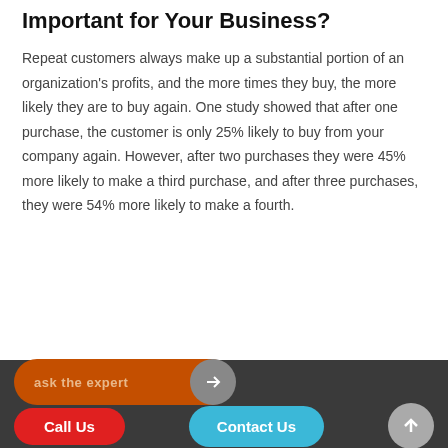Important for Your Business?
Repeat customers always make up a substantial portion of an organization's profits, and the more times they buy, the more likely they are to buy again. One study showed that after one purchase, the customer is only 25% likely to buy from your company again. However, after two purchases they were 45% more likely to make a third purchase, and after three purchases, they were 54% more likely to make a fourth.